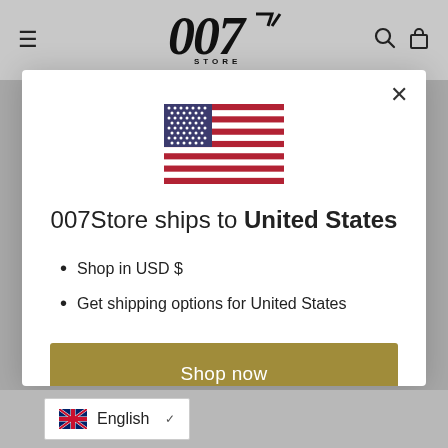007 Store — navigation header
[Figure (illustration): US flag icon centered in modal]
007Store ships to United States
Shop in USD $
Get shipping options for United States
Shop now
Change shipping country
English language selector